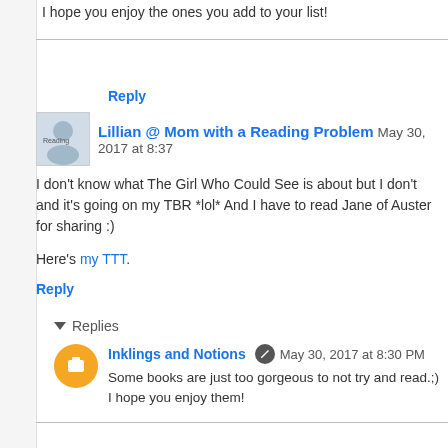I hope you enjoy the ones you add to your list!
Reply
Lillian @ Mom with a Reading Problem May 30, 2017 at 8:37
I don't know what The Girl Who Could See is about but I don't and it's going on my TBR *lol* And I have to read Jane of Auster for sharing :)
Here's my TTT.
Reply
Replies
Inklings and Notions May 30, 2017 at 8:30 PM
Some books are just too gorgeous to not try and read.;) I hope you enjoy them!
Reply